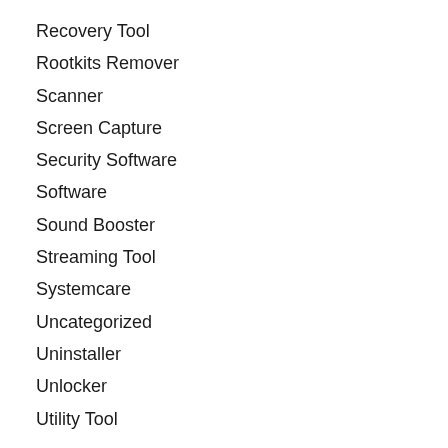Recovery Tool
Rootkits Remover
Scanner
Screen Capture
Security Software
Software
Sound Booster
Streaming Tool
Systemcare
Uncategorized
Uninstaller
Unlocker
Utility Tool